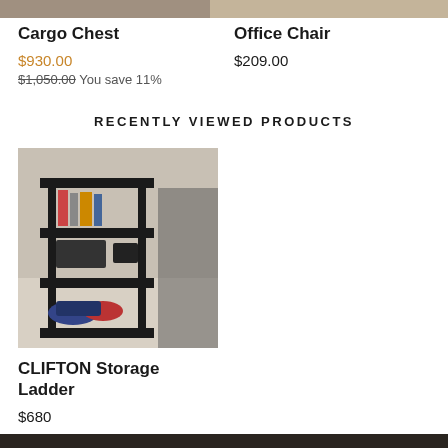[Figure (photo): Product image top strip: Cargo Chest on left, Office Chair on right]
Cargo Chest
$930.00
$1,050.00 You save 11%
Office Chair
$209.00
RECENTLY VIEWED PRODUCTS
[Figure (photo): CLIFTON Storage Ladder - black metal shelving unit with multiple tiers beside a bed]
CLIFTON Storage Ladder
$680